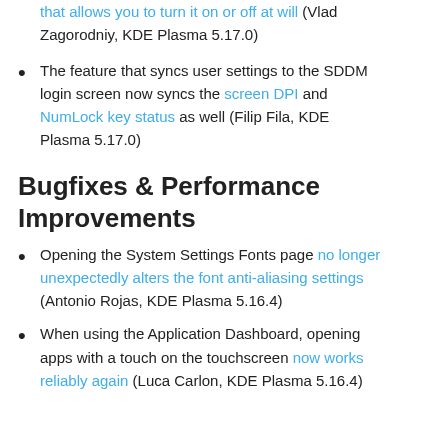that allows you to turn it on or off at will (Vlad Zagorodniy, KDE Plasma 5.17.0)
The feature that syncs user settings to the SDDM login screen now syncs the screen DPI and NumLock key status as well (Filip Fila, KDE Plasma 5.17.0)
Bugfixes & Performance Improvements
Opening the System Settings Fonts page no longer unexpectedly alters the font anti-aliasing settings (Antonio Rojas, KDE Plasma 5.16.4)
When using the Application Dashboard, opening apps with a touch on the touchscreen now works reliably again (Luca Carlon, KDE Plasma 5.16.4)